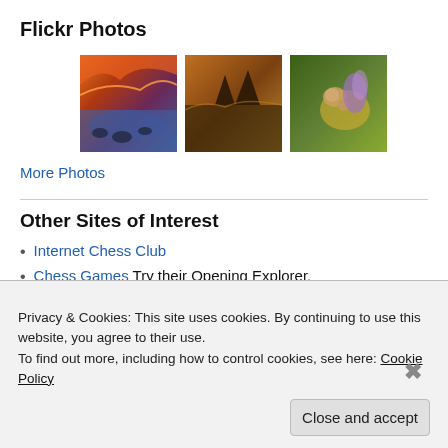Flickr Photos
[Figure (photo): Three Flickr thumbnail photos: a sunset over water with rocks, a landscape at dusk, and a harvest mouse on a flower]
More Photos
Other Sites of Interest
Internet Chess Club
Chess Games Try their Opening Explorer.
Privacy & Cookies: This site uses cookies. By continuing to use this website, you agree to their use.
To find out more, including how to control cookies, see here: Cookie Policy